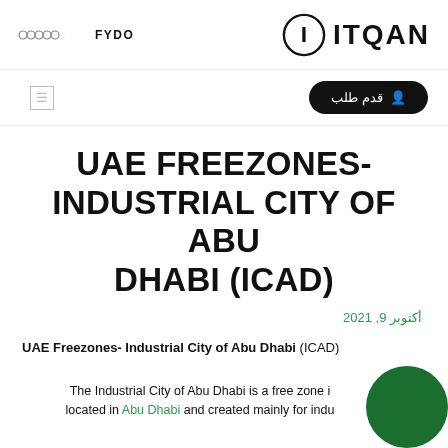FYDO | ITQAN
[Figure (logo): Left: connected circles logo with FYDO text. Right: ITQAN logo with bold letter I in a circle and ITQAN text.]
قدم طلب (Apply button in Arabic)
UAE FREEZONES- INDUSTRIAL CITY OF ABU DHABI (ICAD)
أكتوبر 9, 2021
UAE Freezones- Industrial City of Abu Dhabi (ICAD)
The Industrial City of Abu Dhabi is a free zone located in Abu Dhabi and created mainly for industrial...